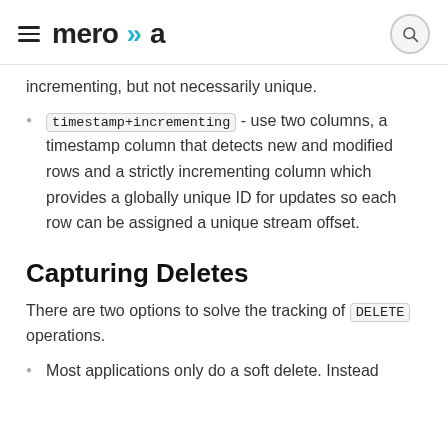meroxa
incrementing, but not necessarily unique.
timestamp+incrementing - use two columns, a timestamp column that detects new and modified rows and a strictly incrementing column which provides a globally unique ID for updates so each row can be assigned a unique stream offset.
Capturing Deletes
There are two options to solve the tracking of DELETE operations.
Most applications only do a soft delete. Instead